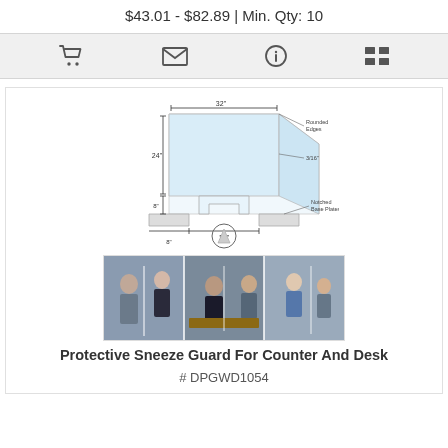$43.01 - $82.89 | Min. Qty: 10
[Figure (illustration): Icon toolbar row with shopping cart, envelope/email, info, and list/menu icons on a grey background]
[Figure (illustration): Product engineering diagram of a protective sneeze guard / acrylic barrier with dimension annotations: 32 inches wide, 24 inches tall, 8 inch notch, 3/16 inch thickness, rounded edges, notched base plates, 16 inch and 8 inch base dimensions]
[Figure (photo): Three-panel photo strip showing people at desks and counters separated by clear acrylic sneeze guards in office/medical settings]
Protective Sneeze Guard For Counter And Desk
# DPGWD1054